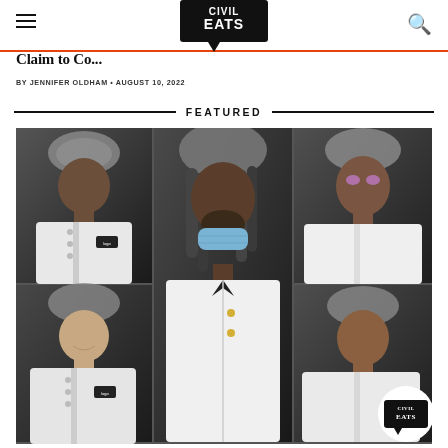Civil Eats
Claim to Co...
BY JENNIFER OLDHAM • AUGUST 10, 2022
FEATURED
[Figure (photo): Grid of five chefs wearing white chef coats and gray hairnets/chef hats, photographed against a dark background. Center chef is tall and wears a blue face mask pulled down. Civil Eats watermark logo in bottom right corner.]